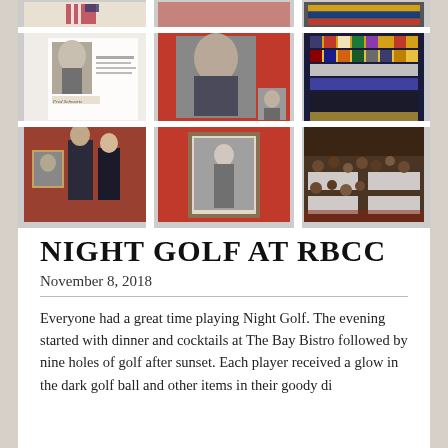[Figure (photo): Collage of six photographs related to a military memorial event: military portrait and documents (top-left), formal military portrait on red background with smaller inset photo (top-center), military medals/ribbons display (top-right), two men in uniform with framed photo (bottom-left), framed black-and-white photo on red display (bottom-center), crowded banquet room with people seated at tables (bottom-right).]
NIGHT GOLF AT RBCC
November 8, 2018
Everyone had a great time playing Night Golf. The evening started with dinner and cocktails at The Bay Bistro followed by nine holes of golf after sunset. Each player received a glow in the dark golf ball and other items in their goody di...